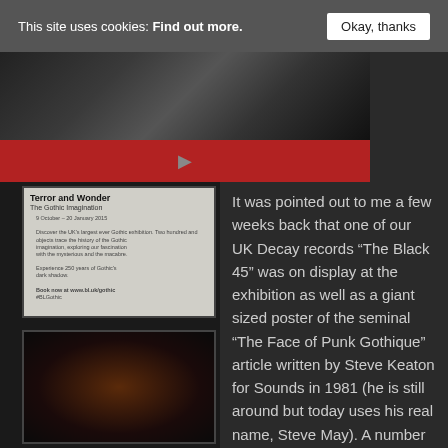This site uses cookies: Find out more.
Okay, thanks
[Figure (photo): Top portion of a dark photo showing a person in black clothing, partially cropped, with a red bar below containing a play icon]
[Figure (photo): A man standing outside next to a framed poster reading 'Terror and Wonder: The Gothic Imagination' exhibition poster, with another darker gothic image below it]
It was pointed out to me a few weeks back that one of our UK Decay records “The Black 45” was on display at the exhibition as well as a giant sized poster of the seminal “The Face of Punk Gothique” article written by Steve Keaton for Sounds in 1981 (he is still around but today uses his real name, Steve May). A number of years ago we visited the Tate Gallery for